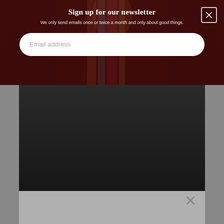Sign up for our newsletter
We only send emails once or twice a month and only about good things.
Email address
[Figure (screenshot): Dark video player rectangle below modal overlay]
[Figure (screenshot): Gray card/panel at bottom with close button]